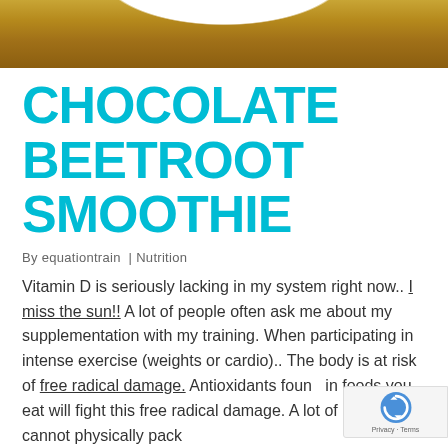[Figure (photo): Partial photo of a smoothie or food item on a wooden surface, cropped at top of page]
CHOCOLATE BEETROOT SMOOTHIE
By equationtrain  |  Nutrition
Vitamin D is seriously lacking in my system right now.. I miss the sun!! A lot of people often ask me about my supplementation with my training. When participating in intense exercise (weights or cardio).. The body is at risk of free radical damage. Antioxidants found in foods you eat will fight this free radical damage. A lot of people cannot physically pack